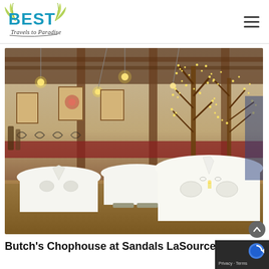[Figure (logo): Best Travels to Paradise logo with teal/blue BEST text and palm fronds, cursive subtitle 'Travels to Paradise']
[Figure (photo): Interior of Butch's Chophouse restaurant at Sandals LaSource Grenada showing elegantly set white tablecloth tables, decorative trees with fairy lights, pendant bulb lighting, wooden beams, and art on the walls]
Butch's Chophouse at Sandals LaSource Grenada